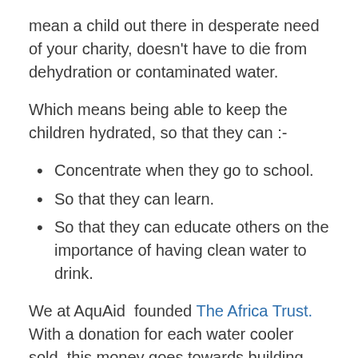mean a child out there in desperate need of your charity, doesn't have to die from dehydration or contaminated water.
Which means being able to keep the children hydrated, so that they can :-
Concentrate when they go to school.
So that they can learn.
So that they can educate others on the importance of having clean water to drink.
We at AquAid  founded The Africa Trust. With a donation for each water cooler sold, this money goes towards building another Elephant Pump in a rural community in the Third World. A charity that truly gives. (And keeps on giving).